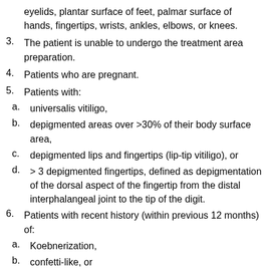eyelids, plantar surface of feet, palmar surface of hands, fingertips, wrists, ankles, elbows, or knees.
3. The patient is unable to undergo the treatment area preparation.
4. Patients who are pregnant.
5. Patients with:
a. universalis vitiligo,
b. depigmented areas over >30% of their body surface area,
c. depigmented lips and fingertips (lip-tip vitiligo), or
d. > 3 depigmented fingertips, defined as depigmentation of the dorsal aspect of the fingertip from the distal interphalangeal joint to the tip of the digit.
6. Patients with recent history (within previous 12 months) of:
a. Koebnerization,
b. confetti-like, or